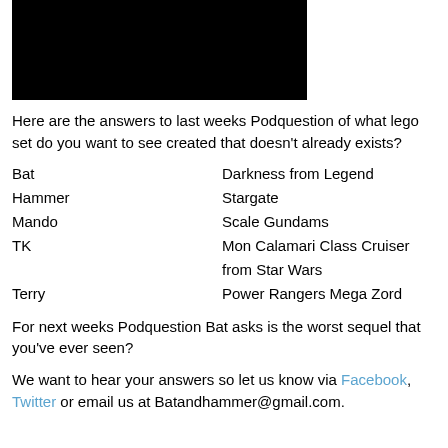[Figure (photo): Dark/black image at top of page, partially cropped]
Here are the answers to last weeks Podquestion of what lego set do you want to see created that doesn't already exists?
Bat    Darkness from Legend
Hammer    Stargate
Mando    Scale Gundams
TK    Mon Calamari Class Cruiser from Star Wars
Terry    Power Rangers Mega Zord
For next weeks Podquestion Bat asks is the worst sequel that you've ever seen?
We want to hear your answers so let us know via Facebook, Twitter or email us at Batandhammer@gmail.com.